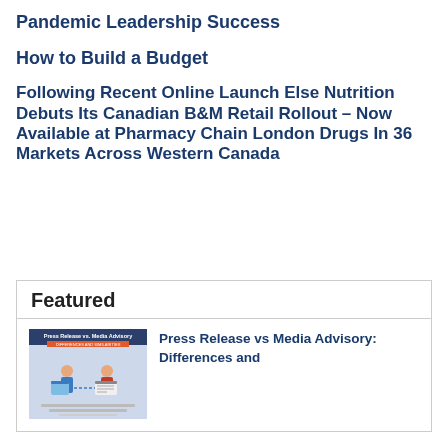Pandemic Leadership Success
How to Build a Budget
Following Recent Online Launch Else Nutrition Debuts Its Canadian B&M Retail Rollout – Now Available at Pharmacy Chain London Drugs In 36 Markets Across Western Canada
Featured
[Figure (screenshot): Thumbnail image showing 'Press Release vs. Media Advisory: Differences and Similarities' infographic]
Press Release vs Media Advisory: Differences and